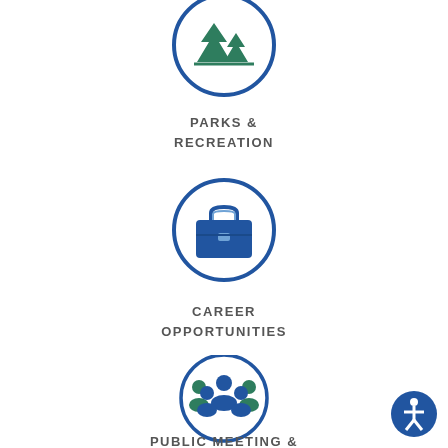[Figure (illustration): Parks & Recreation icon: two pine trees inside a blue circle]
PARKS & RECREATION
[Figure (illustration): Career Opportunities icon: briefcase inside a blue circle]
CAREER OPPORTUNITIES
[Figure (illustration): Public Meeting & icon: group of people inside a blue circle]
PUBLIC MEETING &
[Figure (illustration): Accessibility icon: person figure inside a blue circle, bottom right corner]